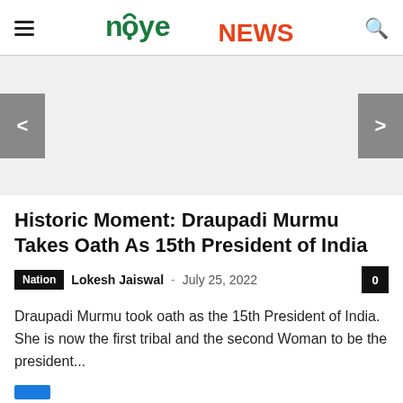noye NEWS
[Figure (other): News article slider/carousel area with left and right navigation arrows on grey background]
Historic Moment: Draupadi Murmu Takes Oath As 15th President of India
Nation  Lokesh Jaiswal – July 25, 2022  0
Draupadi Murmu took oath as the 15th President of India. She is now the first tribal and the second Woman to be the president...